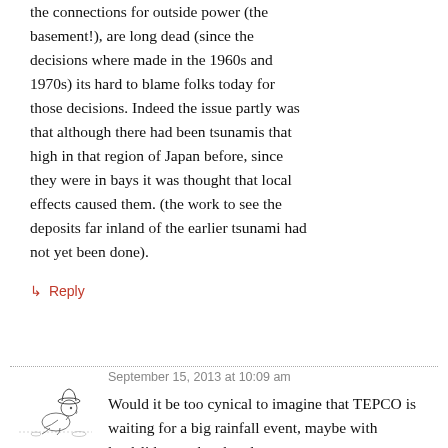the connections for outside power (the basement!), are long dead (since the decisions where made in the 1960s and 1970s) its hard to blame folks today for those decisions. Indeed the issue partly was that although there had been tsunamis that high in that region of Japan before, since they were in bays it was thought that local effects caused them. (the work to see the deposits far inland of the earlier tsunami had not yet been done).
↳ Reply
September 15, 2013 at 10:09 am
[Figure (illustration): Sketch illustration of a person in a hat crouching or sitting on the ground]
Hank
Would it be too cynical to imagine that TEPCO is waiting for a big rainfall event, maybe with landslides on the already water-